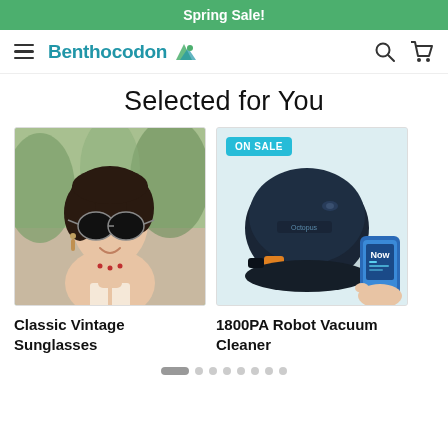Spring Sale!
Benthocodon — navigation bar with logo, hamburger menu, search and cart icons
Selected for You
[Figure (photo): Woman wearing sunglasses and earrings, smiling outdoors — product photo for Classic Vintage Sunglasses]
Classic Vintage Sunglasses
[Figure (photo): Robot vacuum cleaner (round, dark navy) shown alongside a smartphone with a blue app screen. An 'ON SALE' badge is visible — product photo for 1800PA Robot Vacuum Cleaner]
1800PA Robot Vacuum Cleaner